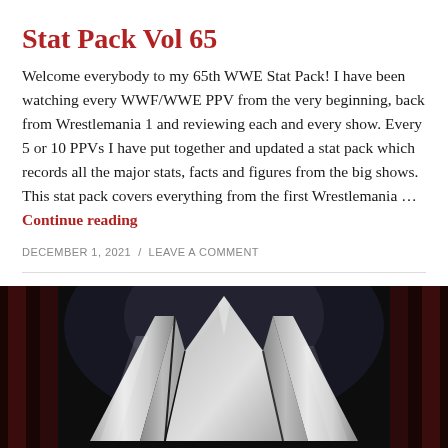Stat Pack Vol 65
Welcome everybody to my 65th WWE Stat Pack! I have been watching every WWF/WWE PPV from the very beginning, back from Wrestlemania 1 and reviewing each and every show. Every 5 or 10 PPVs I have put together and updated a stat pack which records all the major stats, facts and figures from the big shows. This stat pack covers everything from the first Wrestlemania … Continue reading
DECEMBER 1, 2021 / LEAVE A COMMENT
[Figure (photo): WWE logo — metallic silver stylized W on a dark/black background with dramatic lighting and dark reddish curtains on the sides.]